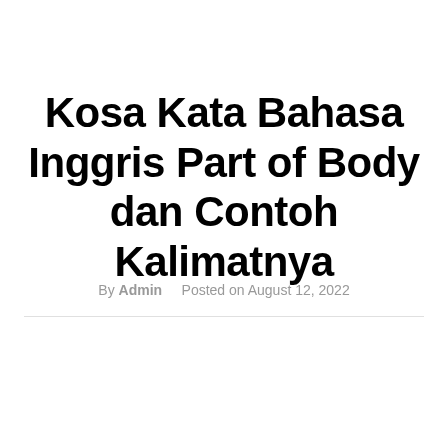Kosa Kata Bahasa Inggris Part of Body dan Contoh Kalimatnya
By Admin   Posted on August 12, 2022